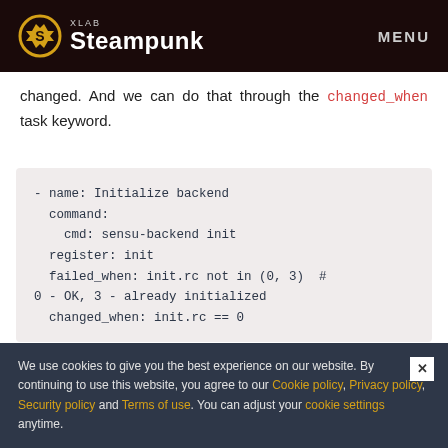XLAB Steampunk — MENU
changed. And we can do that through the changed_when task keyword.
- name: Initialize backend
  command:
    cmd: sensu-backend init
  register: init
  failed_when: init.rc not in (0, 3)  # 0 - OK, 3 - already initialized
  changed_when: init.rc == 0
We use cookies to give you the best experience on our website. By continuing to use this website, you agree to our Cookie policy, Privacy policy, Security policy and Terms of use. You can adjust your cookie settings anytime.